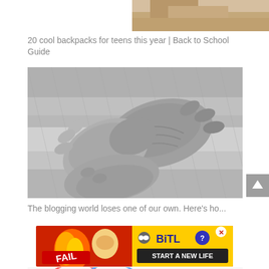[Figure (photo): Partial cropped image at top right showing a person's lower torso and hands area in color]
20 cool backpacks for teens this year | Back to School Guide
[Figure (photo): Black and white photograph of two pairs of hands clasped together, appearing to be an elderly person's hands holding a younger person's hands, with fabric/blanket in background]
The blogging world loses one of our own. Here's ho...
[Figure (other): BitLife advertisement banner with cartoon character, flames, FAIL text, and START A NEW LIFE text on yellow/red background]
[Figure (other): Partial image at bottom showing colorful illustrated content]